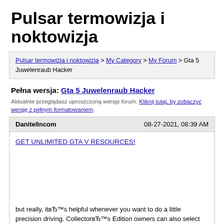Pulsar termowizja i noktowizja
Pulsar termowizja i noktowizja > My Category > My Forum > Gta 5 Juwelenraub Hacker
Pełna wersja: Gta 5 Juwelenraub Hacker
Aktualnie przeglądasz uproszczoną wersję forum. Kliknij tutaj, by zobaczyć wersję z pełnym formatowaniem.
DanitelIncom 08-27-2021, 08:39 AM
GET UNLIMITED GTA V RESOURCES!
but really, itвЂ™s helpful whenever you want to do a little precision driving. CollectorвЂ™s Edition owners can also select some old faces from previous Grand Theft Auto as parents. 5. Try passive mode If you wear a mask while holding up a convenience store, sometimes itвЂ™s a